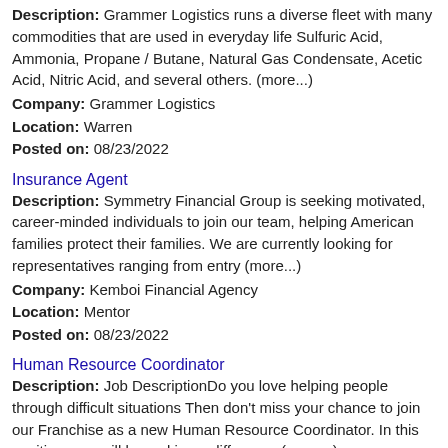Description: Grammer Logistics runs a diverse fleet with many commodities that are used in everyday life Sulfuric Acid, Ammonia, Propane / Butane, Natural Gas Condensate, Acetic Acid, Nitric Acid, and several others. (more...)
Company: Grammer Logistics
Location: Warren
Posted on: 08/23/2022
Insurance Agent
Description: Symmetry Financial Group is seeking motivated, career-minded individuals to join our team, helping American families protect their families. We are currently looking for representatives ranging from entry (more...)
Company: Kemboi Financial Agency
Location: Mentor
Posted on: 08/23/2022
Human Resource Coordinator
Description: Job DescriptionDo you love helping people through difficult situations Then don't miss your chance to join our Franchise as a new Human Resource Coordinator. In this position, you will be making a difference (more...)
Company: SERVPRO of East Mahoning County - 10513
Location: Warren